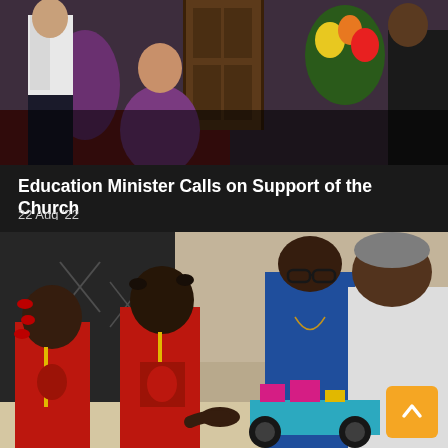[Figure (photo): Top photo showing people in formal attire including a person in a white jacket and someone in purple clothing near a decorated doorway with flowers]
Education Minister Calls on Support of the Church
22 Aug '22
[Figure (photo): Photo showing two young girls in red t-shirts with yellow lanyards working on a colorful LEGO robot/car, while two adults (a woman in blue and a man in white) lean in to observe their work. The girls appear to be in a STEM or robotics activity.]